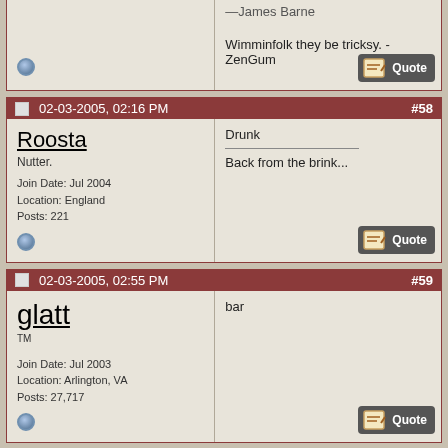—James Barne

Wimminfolk they be tricksy. - ZenGum
02-03-2005, 02:16 PM #58
Roosta
Nutter.
Join Date: Jul 2004
Location: England
Posts: 221
Drunk
Back from the brink...
02-03-2005, 02:55 PM #59
glatt
™
Join Date: Jul 2003
Location: Arlington, VA
Posts: 27,717
bar
02-03-2005, 02:56 PM #60
Trilby
barre